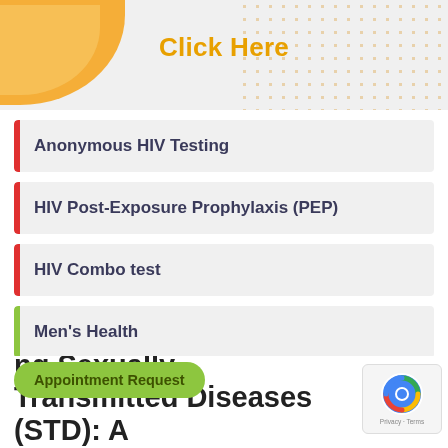[Figure (illustration): Decorative header banner with orange blob shapes on the left and dot pattern on the right, with 'Click Here' text in gold/yellow]
Click Here
Anonymous HIV Testing
HIV Post-Exposure Prophylaxis (PEP)
HIV Combo test
Men's Health
Women's Health
STD Screening and Treatment
Appointment Request
ng Sexually Transmitted Diseases (STD): A